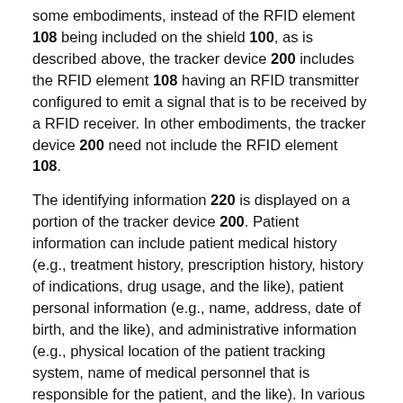some embodiments, instead of the RFID element 108 being included on the shield 100, as is described above, the tracker device 200 includes the RFID element 108 having an RFID transmitter configured to emit a signal that is to be received by a RFID receiver. In other embodiments, the tracker device 200 need not include the RFID element 108.
The identifying information 220 is displayed on a portion of the tracker device 200. Patient information can include patient medical history (e.g., treatment history, prescription history, history of indications, drug usage, and the like), patient personal information (e.g., name, address, date of birth, and the like), and administrative information (e.g., physical location of the patient tracking system, name of medical personnel that is responsible for the patient, and the like). In various embodiments, the identifying information 220 can be located on an adhesive that is adhered to the outer surface 219 of the tracker device 200. Therefore, when the tracker device 200 is worn by a user, the identifying information 220 faces outward on the outer surface 219 such that medical personnel and others may readily identify the patient based on the identifying